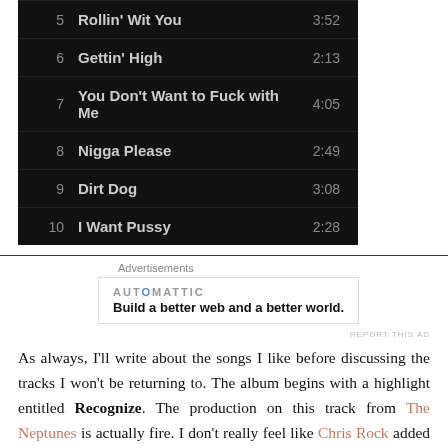| # | Title | Duration |
| --- | --- | --- |
| 5 | Rollin' Wit You | 3:52 |
| 6 | Gettin' High | 2:13 |
| 7 | You Don't Want to Fuck with Me | 4:05 |
| 8 | Nigga Please | 2:49 |
| 9 | Dirt Dog | 3:08 |
| 10 | I Want Pussy | 2:28 |
[Figure (screenshot): Automattic advertisement: 'Build a better web and a better world.']
As always, I'll write about the songs I like before discussing the tracks I won't be returning to. The album begins with a highlight entitled Recognize. The production on this track from The Neptunes is actually fire. I don't really feel like Chris Rock added anything to this song, but